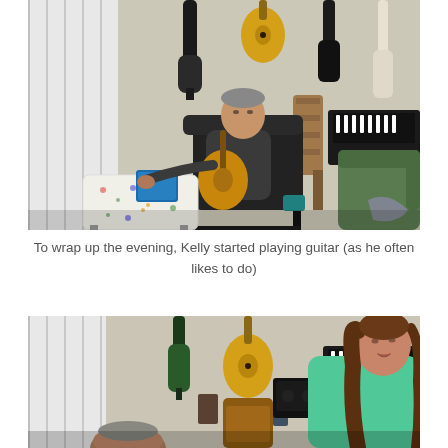[Figure (photo): A man sits in a black chair playing an acoustic guitar in a music room. Several guitars hang on the wall behind him, including a yellow acoustic and dark electric guitars. A keyboard/piano is visible on the right. He is looking at a tablet propped on a white patterned ottoman in front of him. Green couches are visible on the right side.]
To wrap up the evening, Kelly started playing guitar (as he often likes to do)
[Figure (photo): A young woman with long brown hair wearing a mint/teal green hoodie stands singing or speaking in the same music room. Behind her guitars hang on the wall including a yellow acoustic guitar and a green electric guitar. A man's head is partially visible in the lower foreground. A keyboard is visible in the background.]